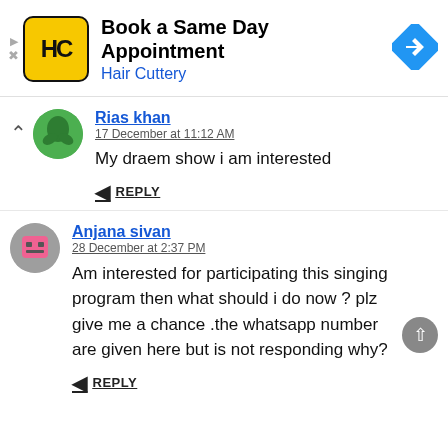[Figure (other): Hair Cuttery ad banner with yellow HC logo, text 'Book a Same Day Appointment / Hair Cuttery', and a blue navigation arrow icon on the right]
Rias khan
17 December at 11:12 AM
My draem show i am interested
REPLY
Anjana sivan
28 December at 2:37 PM
Am interested for participating this singing program then what should i do now ? plz give me a chance .the whatsapp number are given here but is not responding why?
REPLY